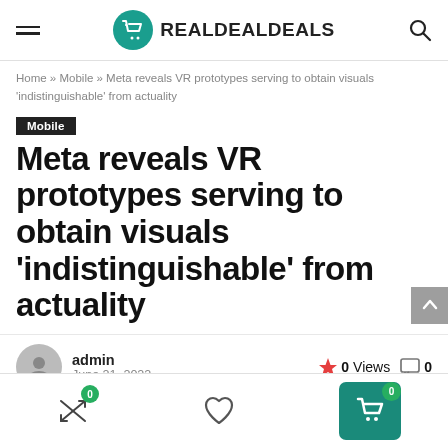REALDEALDEALS
Home » Mobile » Meta reveals VR prototypes serving to obtain visuals 'indistinguishable' from actuality
Mobile
Meta reveals VR prototypes serving to obtain visuals 'indistinguishable' from actuality
admin
June 21, 2022
0 Views
0